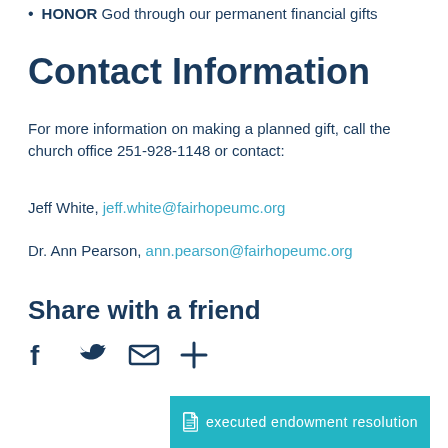HONOR God through our permanent financial gifts
Contact Information
For more information on making a planned gift, call the church office 251-928-1148 or contact:
Jeff White, jeff.white@fairhopeumc.org
Dr. Ann Pearson, ann.pearson@fairhopeumc.org
Share with a friend
[Figure (other): Social sharing icons: Facebook, Twitter, Email, More]
executed endowment resolution